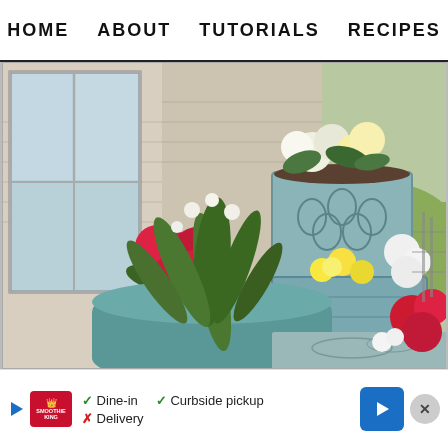HOME   ABOUT   TUTORIALS   RECIPES
[Figure (photo): A porch or patio scene showing multiple decorative wooden planter boxes painted in teal/blue with stencil patterns. The planters contain blooming flowers including red azaleas, white flowers, and yellow flowers. A green plant with white buds is in a round teal pot in the foreground. A decorative outdoor rug with pattern is visible. The background shows a white house exterior with windows and a green lawn.]
Dine-in   Curbside pickup   Delivery